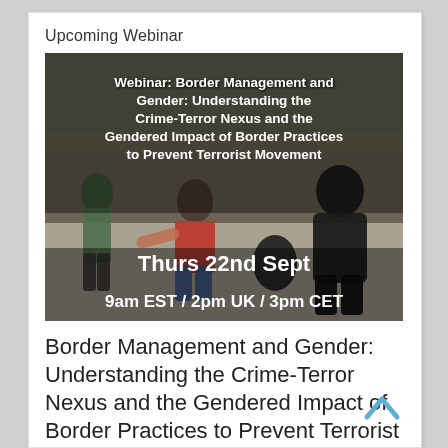Upcoming Webinar
[Figure (photo): Webinar promotional image showing people at a border crossing with overlaid text: 'Webinar: Border Management and Gender: Understanding the Crime-Terror Nexus and the Gendered Impact of Border Practices to Prevent Terrorist Movement. Thurs 22nd Sept. 9am EST / 2pm UK / 3pm CET']
Border Management and Gender: Understanding the Crime-Terror Nexus and the Gendered Impact of Border Practices to Prevent Terrorist